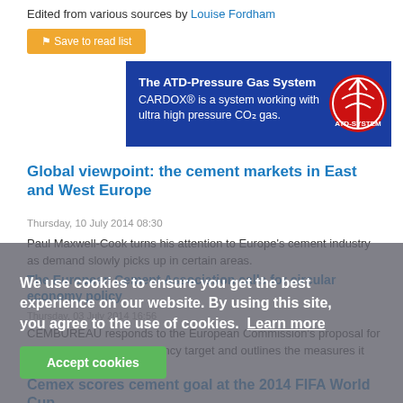Edited from various sources by Louise Fordham
Save to read list
[Figure (illustration): ATD-Pressure Gas System CARDOX advertisement banner on blue background]
Global viewpoint: the cement markets in East and West Europe
Thursday, 10 July 2014 08:30
Paul Maxwell-Cook turns his attention to Europe's cement industry as demand slowly picks up in certain areas.
The European Cement Association calls for circular economy policy
Thursday, 03 July 2014 16:56
CEMBUREAU responds to the European Commission's proposal for a headline resource efficiency target and outlines the measures it believes need to be taken.
Cemex scores cement goal at the 2014 FIFA World Cup
We use cookies to ensure you get the best experience on our website. By using this site, you agree to the use of cookies. Learn more
Accept cookies